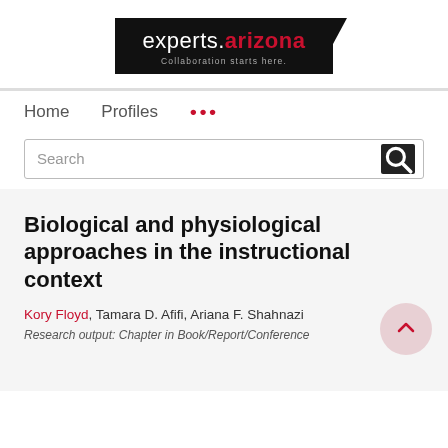[Figure (logo): experts.arizona logo — black background with white text 'experts.' and red text 'arizona', subtitle 'Collaboration starts here.']
Home   Profiles   ...
Search
Biological and physiological approaches in the instructional context
Kory Floyd, Tamara D. Afifi, Ariana F. Shahnazi
Research output: Chapter in Book/Report/Conference...